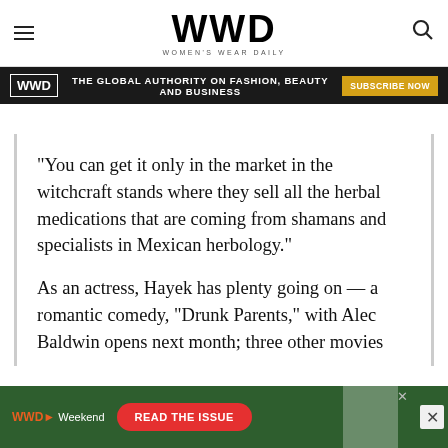WWD — Women's Wear Daily
[Figure (infographic): WWD banner advertisement: THE GLOBAL AUTHORITY ON FASHION, BEAUTY AND BUSINESS — SUBSCRIBE NOW]
“You can get it only in the market in the witchcraft stands where they sell all the herbal medications that are coming from shamans and specialists in Mexican herbology.”
As an actress, Hayek has plenty going on — a romantic comedy, “Drunk Parents,” with Alec Baldwin opens next month; three other movies
[Figure (infographic): WWD Weekend advertisement: READ THE ISSUE]